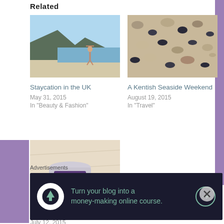Related
[Figure (photo): Person on a beach with mountain in background, arms raised]
Staycation in the UK
May 31, 2015
In "Beauty & Fashion"
[Figure (photo): Close-up of pebbles and shells on a beach]
A Kentish Seaside Weekend
August 19, 2015
In "Travel"
[Figure (photo): Cotswold Lavender product jars on fabric]
Cotswold Lavender
July 12, 2015
In "Beauty & Fashion"
Advertisements
[Figure (other): Dark banner ad: Turn your blog into a money-making online course. with arrow button]